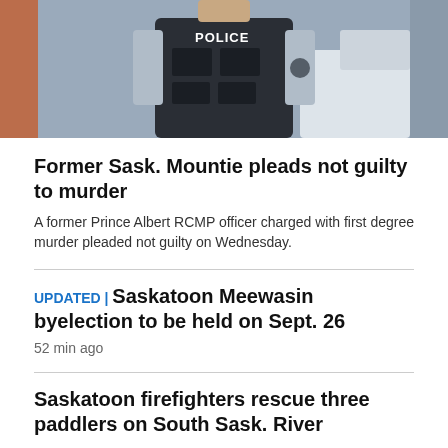[Figure (photo): A police officer in uniform with POLICE written on the vest, standing near a vehicle. Partial body shot.]
Former Sask. Mountie pleads not guilty to murder
A former Prince Albert RCMP officer charged with first degree murder pleaded not guilty on Wednesday.
UPDATED | Saskatoon Meewasin byelection to be held on Sept. 26
52 min ago
Saskatoon firefighters rescue three paddlers on South Sask. River